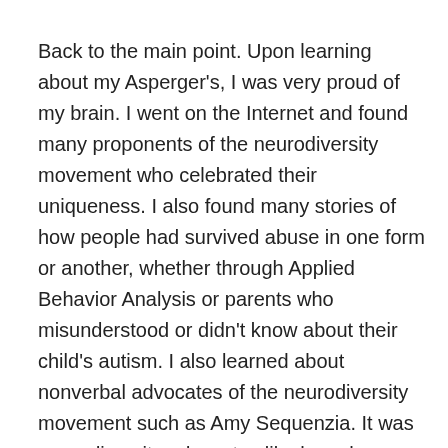Back to the main point. Upon learning about my Asperger's, I was very proud of my brain. I went on the Internet and found many proponents of the neurodiversity movement who celebrated their uniqueness. I also found many stories of how people had survived abuse in one form or another, whether through Applied Behavior Analysis or parents who misunderstood or didn't know about their child's autism. I also learned about nonverbal advocates of the neurodiversity movement such as Amy Sequenzia. It was neurodiversity advocates like her who opened my eyes more into the diverse yet very human experience of what it is to be autistic. I owe her and other many neurodiversity advocates a debt of gratitude of sharing their experiences with the world. The stories of